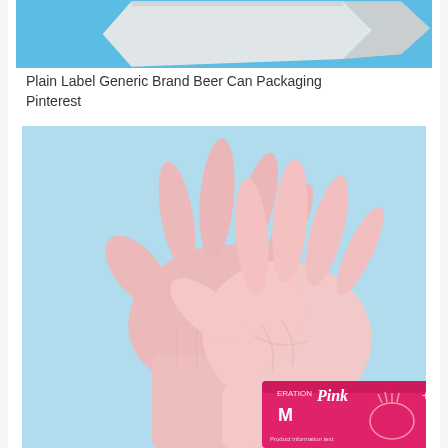[Figure (photo): Partial top image showing white/grey packaging on a blue background – Plain Label Generic Brand Beer Can Packaging]
Plain Label Generic Brand Beer Can Packaging Pinterest
[Figure (photo): Two pink latex/nitrile medical examination gloves on a light blue background, with a pink product box labeled 'ERATION Pink' size M visible in the bottom right corner]